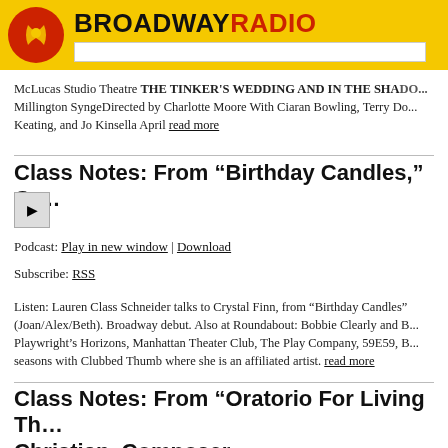BROADWAYRADIO
McLucas Studio Theatre THE TINKER'S WEDDING AND IN THE SHADOW... Millington SyngeDirected by Charlotte Moore With Ciaran Bowling, Terry Do... Keating, and Jo Kinsella April read more
Class Notes: From “Birthday Candles,” Cr…
[Figure (other): Play button icon]
Podcast: Play in new window | Download
Subscribe: RSS
Listen: Lauren Class Schneider talks to Crystal Finn, from “Birthday Candles” (Joan/Alex/Beth). Broadway debut. Also at Roundabout: Bobbie Clearly and B... Playwright’s Horizons, Manhattan Theater Club, The Play Company, 59E59, B... seasons with Clubbed Thumb where she is an affiliated artist. read more
Class Notes: From “Oratorio For Living Th… Christian, Composer